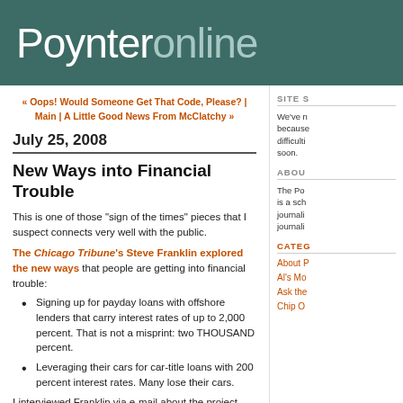Poynteronline
« Oops! Would Someone Get That Code, Please? | Main | A Little Good News From McClatchy »
July 25, 2008
New Ways into Financial Trouble
This is one of those "sign of the times" pieces that I suspect connects very well with the public.
The Chicago Tribune's Steve Franklin explored the new ways that people are getting into financial trouble:
Signing up for payday loans with offshore lenders that carry interest rates of up to 2,000 percent. That is not a misprint: two THOUSAND percent.
Leveraging their cars for car-title loans with 200 percent interest rates. Many lose their cars.
I interviewed Franklin via e-mail about the project.
SITE S
We've n because difficulti soon.
ABOU
The Po is a sch journali journali
CATEG
About P
Al's Mo
Ask the
Chip O